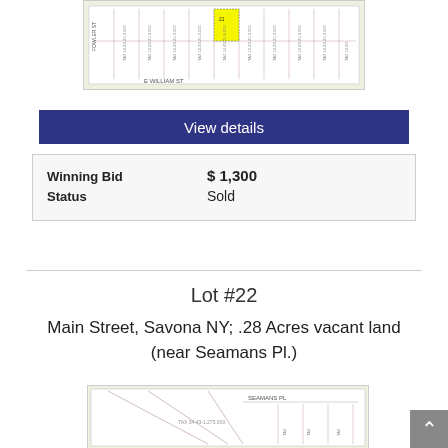[Figure (map): Parcel map showing E William St with numbered tax parcels, highlighted lot in yellow]
View details
|  |  |
| --- | --- |
| Winning Bid | $ 1,300 |
| Status | Sold |
Lot #22
Main Street, Savona NY; .28 Acres vacant land (near Seamans Pl.)
[Figure (map): Parcel map showing Seamans Pl area with tax parcels]